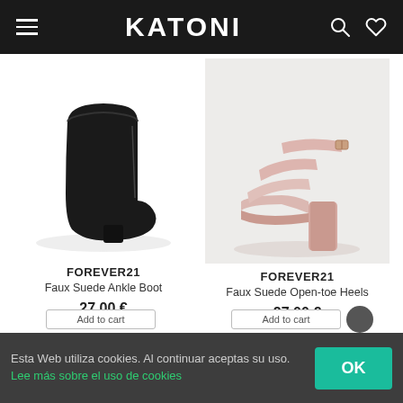KATONI
[Figure (photo): Black faux suede ankle boot with block heel on white background]
FOREVER21
Faux Suede Ankle Boot
27,00 €
[Figure (photo): Pink faux suede open-toe heels with ankle strap and block heel on light grey background]
FOREVER21
Faux Suede Open-toe Heels
27,00 €
Esta Web utiliza cookies. Al continuar aceptas su uso. Lee más sobre el uso de cookies